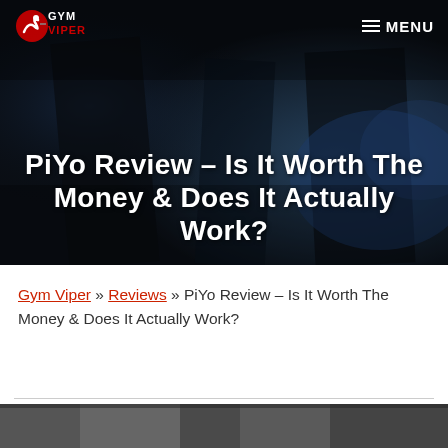[Figure (screenshot): Gym Viper website header with dark moody background image and navigation bar showing logo and MENU button]
PiYo Review – Is It Worth The Money & Does It Actually Work?
Gym Viper » Reviews » PiYo Review – Is It Worth The Money & Does It Actually Work?
[Figure (photo): Bottom portion of a dark photo strip, partially visible at the bottom of the page]